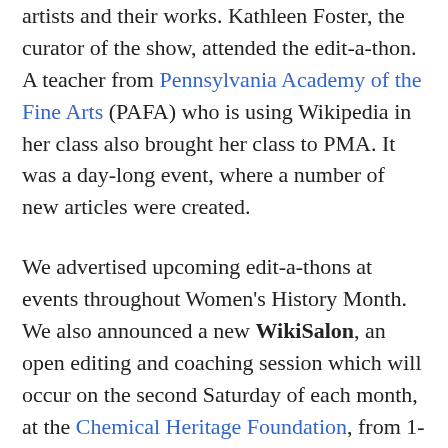artists and their works. Kathleen Foster, the curator of the show, attended the edit-a-thon. A teacher from Pennsylvania Academy of the Fine Arts (PAFA) who is using Wikipedia in her class also brought her class to PMA. It was a day-long event, where a number of new articles were created.

We advertised upcoming edit-a-thons at events throughout Women's History Month. We also announced a new WikiSalon, an open editing and coaching session which will occur on the second Saturday of each month, at the Chemical Heritage Foundation, from 1-3 p.m. The first WikiSalon with be on Saturday, April 8, 2017. We encourage editors to bring their Art And Feminism articles, or other topics of interest, to the